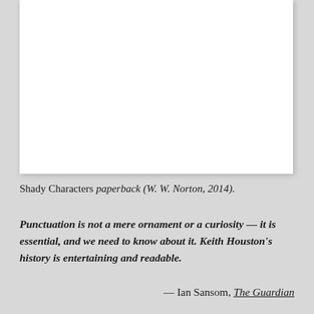[Figure (other): White blank rectangular card/book cover area on a gray background]
Shady Characters paperback (W. W. Norton, 2014).
Punctuation is not a mere ornament or a curiosity — it is essential, and we need to know about it. Keith Houston's history is entertaining and readable.
— Ian Sansom, The Guardian